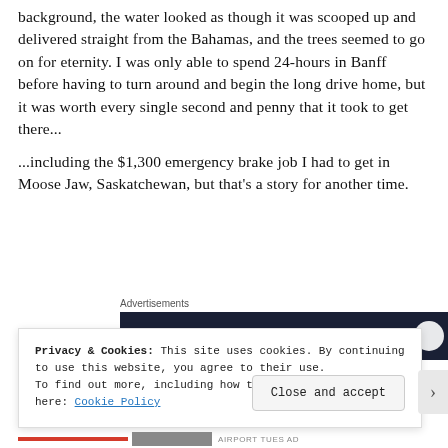background, the water looked as though it was scooped up and delivered straight from the Bahamas, and the trees seemed to go on for eternity. I was only able to spend 24-hours in Banff before having to turn around and begin the long drive home, but it was worth every single second and penny that it took to get there...
...including the $1,300 emergency brake job I had to get in Moose Jaw, Saskatchewan, but that's a story for another time.
Advertisements
[Figure (other): Dark navy advertisement banner with 'Opinions.' text in white italic and two circular logos on the right]
Privacy & Cookies: This site uses cookies. By continuing to use this website, you agree to their use.
To find out more, including how to control cookies, see here: Cookie Policy
Close and accept